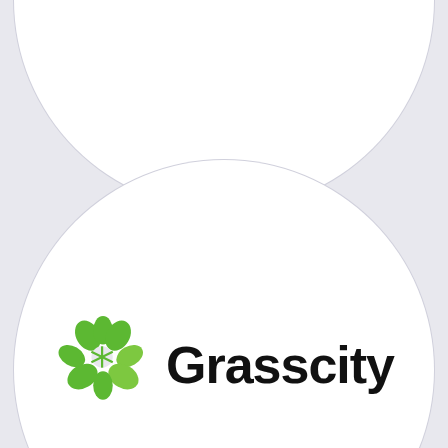[Figure (logo): Grasscity logo consisting of a green flower/citrus-slice icon and the word Grasscity in bold black sans-serif text, displayed on a circular white sticker/badge. A second partial circular badge is visible at the top of the page.]